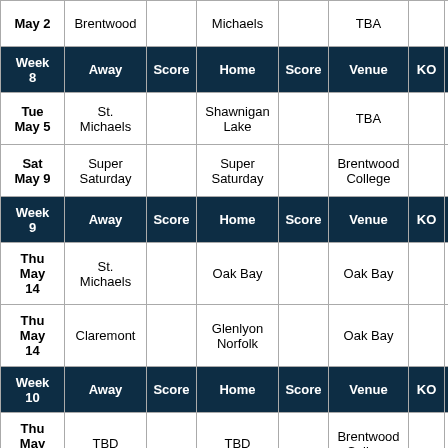| Date | Away | Score | Home | Score | Venue | KO | De |
| --- | --- | --- | --- | --- | --- | --- | --- |
| May 2 | Brentwood |  | Michaels |  | TBA |  | Pre |
| Week 8 | Away | Score | Home | Score | Venue | KO | De |
| Tue May 5 | St. Michaels |  | Shawnigan Lake |  | TBA |  | Pre |
| Sat May 9 | Super Saturday |  | Super Saturday |  | Brentwood College |  | Pre Cros |
| Week 9 | Away | Score | Home | Score | Venue | KO | De |
| Thu May 14 | St. Michaels |  | Oak Bay |  | Oak Bay |  | Ho Ru Pla |
| Thu May 14 | Claremont |  | Glenlyon Norfolk |  | Oak Bay |  | Col H Pla |
| Week 10 | Away | Score | Home | Score | Venue | KO | De |
| Thu May 21 | TBD |  | TBD |  | Brentwood College |  | AAAA F |
| Thu May | TBD |  | TBD |  | Brentwood |  | AAA |